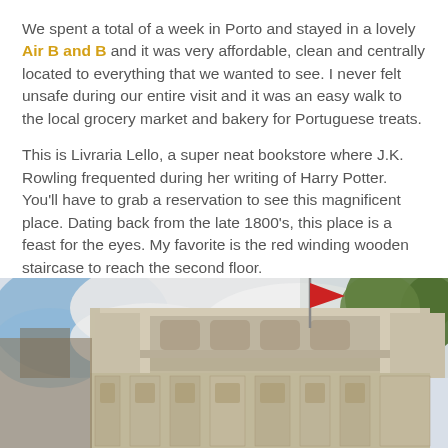We spent a total of a week in Porto and stayed in a lovely Air B and B and it was very affordable, clean and centrally located to everything that we wanted to see.  I never felt unsafe during our entire visit and it was an easy walk to the local grocery market and bakery for Portuguese treats.
This is Livraria Lello, a super neat bookstore where J.K. Rowling frequented during her writing of Harry Potter.  You'll have to grab a reservation to see this magnificent place. Dating back from the late 1800's, this place is a feast for the eyes.  My favorite is the red winding wooden staircase to reach the second floor.
[Figure (photo): Exterior photograph of Livraria Lello bookstore in Porto, showing ornate Art Nouveau facade with decorative stonework, arched windows, and a red flag flying above. Sky visible with blue sky and clouds on the left, green trees on the right.]